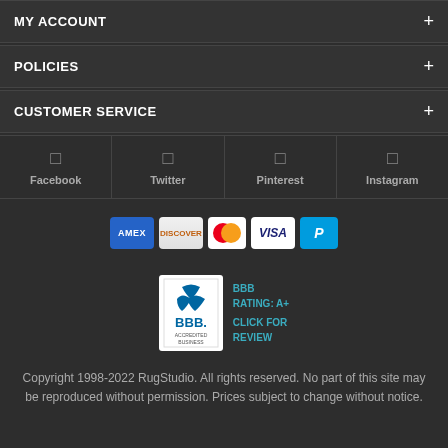MY ACCOUNT
POLICIES
CUSTOMER SERVICE
[Figure (infographic): Social media links: Facebook, Twitter, Pinterest, Instagram]
[Figure (infographic): Payment method icons: AMEX, Discover, Mastercard, Visa, PayPal]
[Figure (logo): BBB Accredited Business badge with BBB RATING: A+ and CLICK FOR REVIEW text]
Copyright 1998-2022 RugStudio. All rights reserved. No part of this site may be reproduced without permission. Prices subject to change without notice.